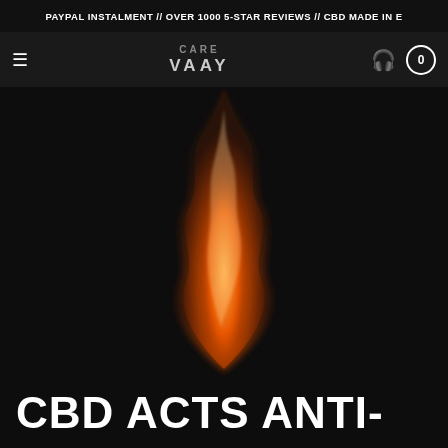PAYPAL INSTALMENT // OVER 1000 5-STAR REVIEWS // CBD MADE IN E
[Figure (screenshot): CARE VAAY website navigation bar with hamburger menu, headphone icon, and cart showing 0]
[Figure (photo): A single flame photograph against a dark/black background, orange-red gradient flame curving sinuously]
CBD ACTS ANTI-